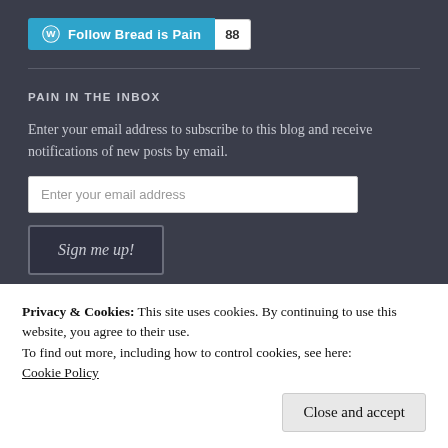[Figure (other): WordPress Follow button for 'Bread is Pain' blog with follower count badge showing 88]
PAIN IN THE INBOX
Enter your email address to subscribe to this blog and receive notifications of new posts by email.
Enter your email address (input field)
Sign me up!
Join 200 other followers
Privacy & Cookies: This site uses cookies. By continuing to use this website, you agree to their use.
To find out more, including how to control cookies, see here:
Cookie Policy
Close and accept